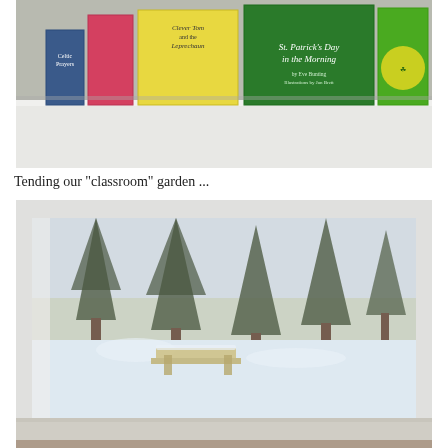[Figure (photo): Photo of children's books displayed on a white shelf ledge, including 'Celtic Prayers', 'Clever Tom and the Leprechaun', 'St. Patrick's Day in the Morning by Eve Bunting, Illustrations by Jan Brett', and another green St. Patrick's Day book.]
Tending our "classroom" garden ...
[Figure (photo): Photo of a snowy winter scene viewed through a large classroom window. Snow-covered trees and a picnic table visible outside. Interior shows white window frame and sill.]